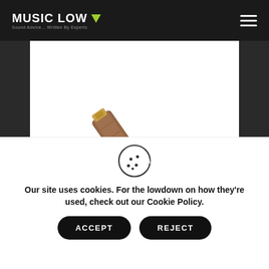MUSIC LOW — Sound Advice... Written By Experts
[Figure (photo): Brown leather accordion/concertina straps laid diagonally on a white background]
“Soft, functional & hardwearing – it’:s no
[Figure (illustration): Cookie icon — circular cookie with bite taken out, showing chocolate chip dots]
Our site uses cookies. For the lowdown on how they’re used, check out our Cookie Policy.
ACCEPT   REJECT